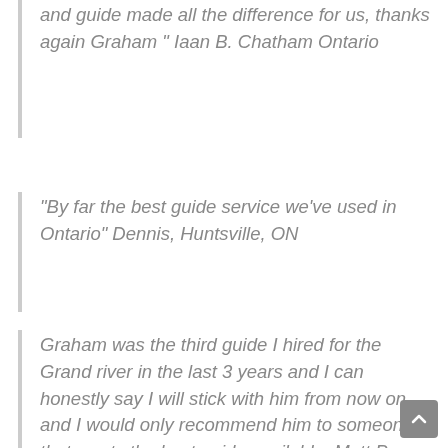and guide made all the difference for us, thanks again Graham " Iaan B. Chatham Ontario
“By far the best guide service we’ve used in Ontario” Dennis, Huntsville, ON
Graham was the third guide I hired for the Grand river in the last 3 years and I can honestly say I will stick with him from now on and I would only recommend him to someone that wants the best guide available. Matt P